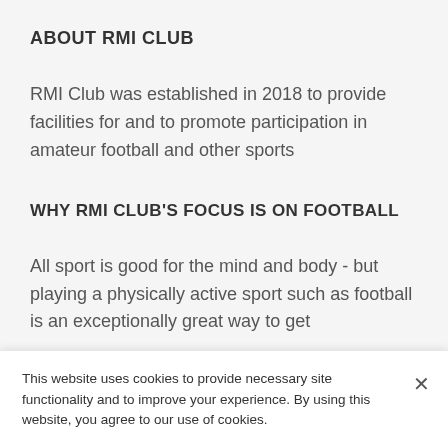ABOUT RMI CLUB
RMI Club was established in 2018 to provide facilities for and to promote participation in amateur football and other sports
WHY RMI CLUB'S FOCUS IS ON FOOTBALL
All sport is good for the mind and body - but playing a physically active sport such as football is an exceptionally great way to get
This website uses cookies to provide necessary site functionality and to improve your experience. By using this website, you agree to our use of cookies.